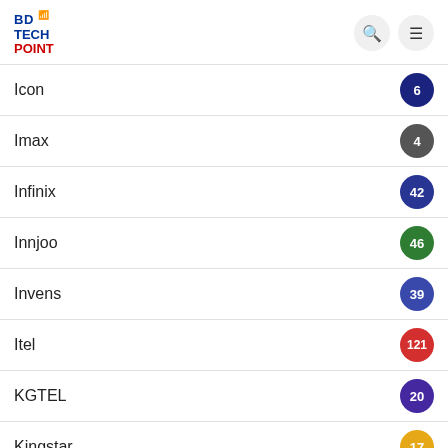BD TECH POINT
Icon 6
Imax 4
Infinix 42
Innjoo 46
Invens 39
Itel 121
KGTEL 20
Kingstar 17
Kxd 2